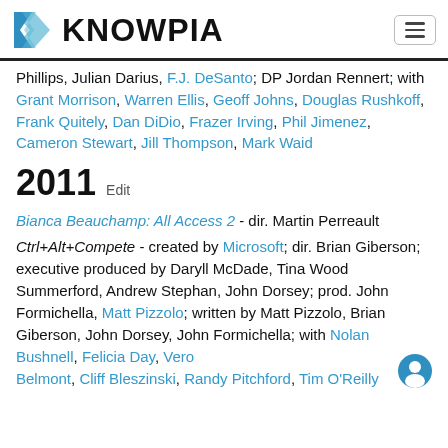KNOWPIA
Phillips, Julian Darius, F.J. DeSanto; DP Jordan Rennert; with Grant Morrison, Warren Ellis, Geoff Johns, Douglas Rushkoff, Frank Quitely, Dan DiDio, Frazer Irving, Phil Jimenez, Cameron Stewart, Jill Thompson, Mark Waid
2011 Edit
Bianca Beauchamp: All Access 2 - dir. Martin Perreault
Ctrl+Alt+Compete - created by Microsoft; dir. Brian Giberson; executive produced by Daryll McDade, Tina Wood Summerford, Andrew Stephan, John Dorsey; prod. John Formichella, Matt Pizzolo; written by Matt Pizzolo, Brian Giberson, John Dorsey, John Formichella; with Nolan Bushnell, Felicia Day, Veronica Belmont, Cliff Bleszinski, Randy Pitchford, Tim O'Reilly